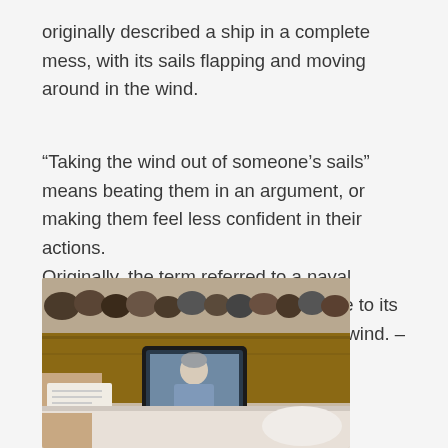originally described a ship in a complete mess, with its sails flapping and moving around in the wind.
“Taking the wind out of someone’s sails” means beating them in an argument, or making them feel less confident in their actions. Originally, the term referred to a naval maneuver. One ship would pass close to its opponent and block its access to the wind. – very useful tactic in battle.
[Figure (photo): A person using a tablet device, visible on a brown wooden surface with various small objects in the background. The tablet screen shows a person on a video call.]